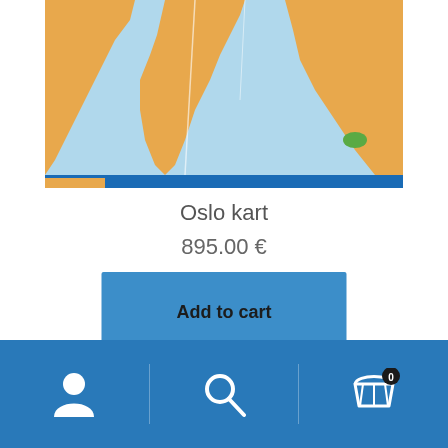[Figure (map): Oslo city map showing fjord and urban areas with orange, blue, and green colors]
Oslo kart
895.00 €
Add to cart
[Figure (map): Lillehammer map showing river and surrounding terrain in yellow-green and blue tones]
[Figure (other): Bottom navigation bar with user icon, search icon, and shopping cart icon with badge showing 0]